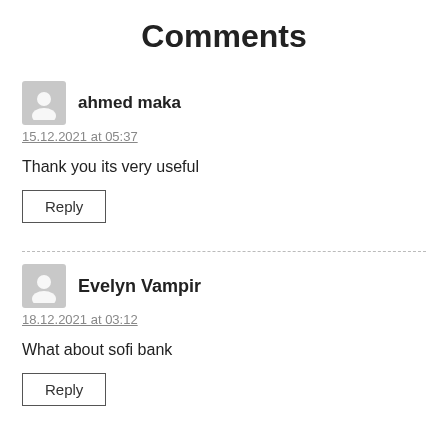Comments
ahmed maka
15.12.2021 at 05:37
Thank you its very useful
Reply
Evelyn Vampir
18.12.2021 at 03:12
What about sofi bank
Reply